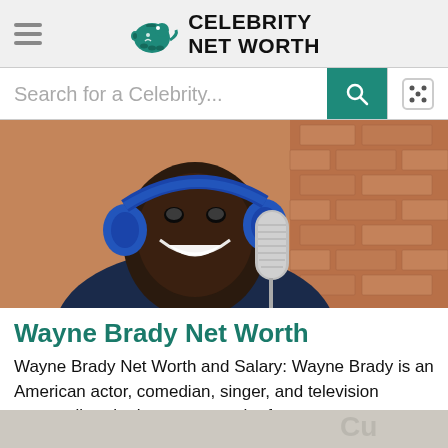Celebrity Net Worth
Search for a Celebrity...
[Figure (photo): Wayne Brady smiling, wearing blue headphones and a navy polo shirt, speaking into a microphone in front of a brick wall background]
Wayne Brady Net Worth
Wayne Brady Net Worth and Salary: Wayne Brady is an American actor, comedian, singer, and television personality who has a net worth of